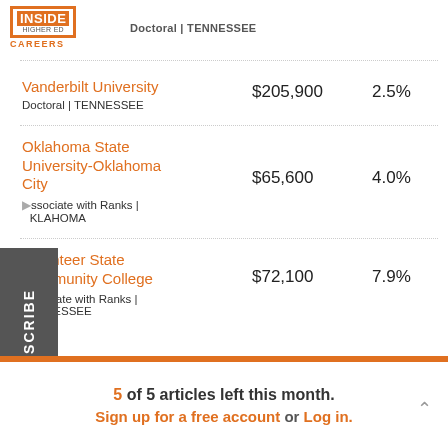[Figure (logo): Inside Higher Ed Careers logo — orange box with INSIDE in white on orange background, HIGHER ED in gray, CAREERS in orange below]
Doctoral | TENNESSEE
| Institution | Salary | Change |
| --- | --- | --- |
| Vanderbilt University
Doctoral | TENNESSEE | $205,900 | 2.5% |
| Oklahoma State University-Oklahoma City
Associate with Ranks | OKLAHOMA | $65,600 | 4.0% |
| Volunteer State Community College
Associate with Ranks | TENNESSEE | $72,100 | 7.9% |
5 of 5 articles left this month.
Sign up for a free account or Log in.